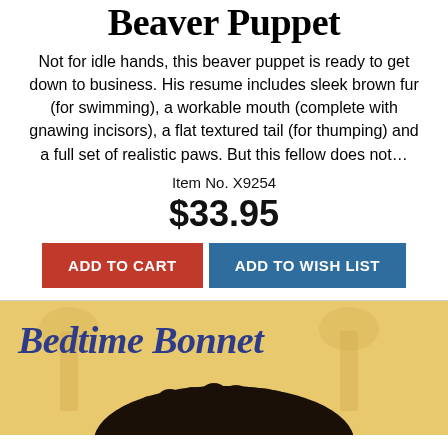Beaver Puppet
Not for idle hands, this beaver puppet is ready to get down to business. His resume includes sleek brown fur (for swimming), a workable mouth (complete with gnawing incisors), a flat textured tail (for thumping) and a full set of realistic paws. But this fellow does not…
Item No. X9254
$33.95
ADD TO CART
ADD TO WISH LIST
[Figure (illustration): Book cover for 'Bedtime Bonnet' showing stylized title text in blue on a golden yellow background, with a child's curly hair visible at the bottom of the image and lamp silhouettes in the background]